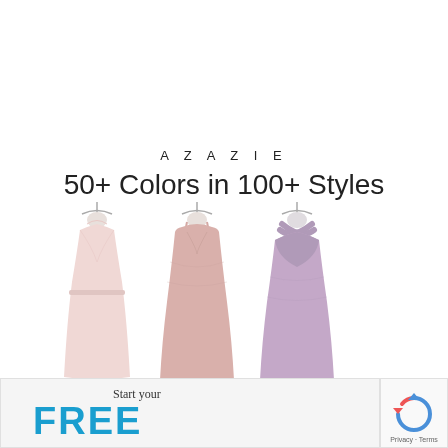AZAZIE
50+ Colors in 100+ Styles
[Figure (photo): Three dress mannequins displaying bridesmaid dresses in pink, blush pink, and mauve/purple colors with different neckline styles]
Start your
FREE
[Figure (logo): reCAPTCHA logo with Privacy and Terms text]